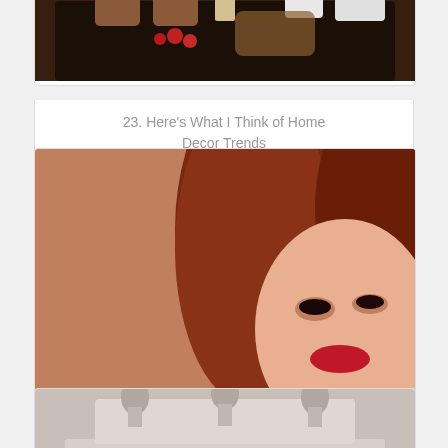[Figure (photo): Photo of kitchen/dining items with mugs, candles, strawberries on a dark wooden surface]
23. Here’s What I Think of Home Decor Trends
[Figure (photo): Photo of a woman with red hair looking at muffins in red cupcake liners, with text overlay 'When it's Time to']
24. When it’s Time to Make a Change
[Figure (photo): Photo of a white distressed dresser/furniture piece with ornate drawer pulls]